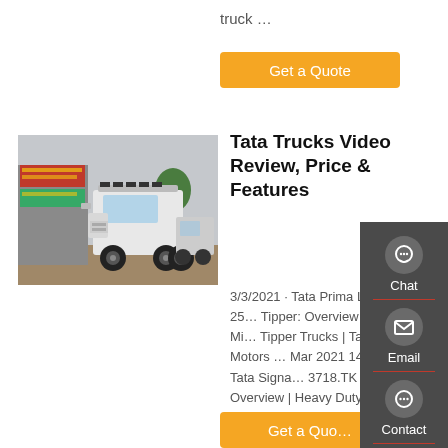truck …
Get a Quote
[Figure (photo): White Tata/HOWO truck tractor parked in front of a building with Chinese text banners]
Tata Trucks Video Review, Price & Features
3/3/2021 · Tata Prima Lx 25… Tipper: Overview | Best Mi… Tipper Trucks | Tata Motors … Mar 2021 14:43 Tata Signa… 3718.TK Truck Overview | Heavy Duty Commercial Vehicles | Tata Motors
Get a Quo…